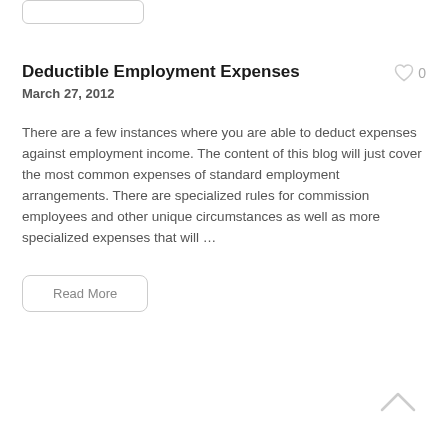Deductible Employment Expenses
March 27, 2012
There are a few instances where you are able to deduct expenses against employment income.  The content of this blog will just cover the most common expenses of standard employment arrangements.  There are specialized rules for commission employees and other unique circumstances as well as more specialized expenses that will …
Read More